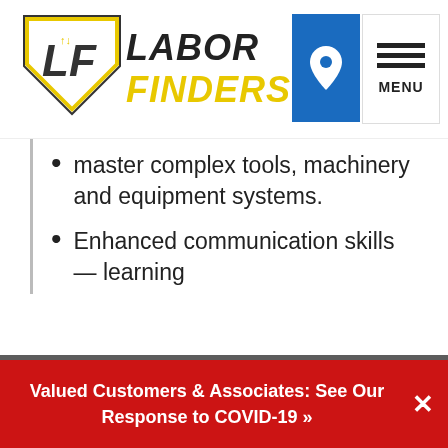[Figure (logo): Labor Finders logo with diamond shape and yellow/black text]
master complex tools, machinery and equipment systems.
Enhanced communication skills — learning
We use cookies to improve user experience and to analyze website traffic. For these reasons, we may share your site usage data with our analytics and advertising partners. By continuing to use the site, you consent to store on your device all the technologies described in our Cookie Policy. You can change your cookie settings at any time by clicking "Cookie Preferences" in your browser settings. Please read our Terms and Conditions and Privacy Policy for full details.
Valued Customers & Associates: See Our Response to COVID-19 »